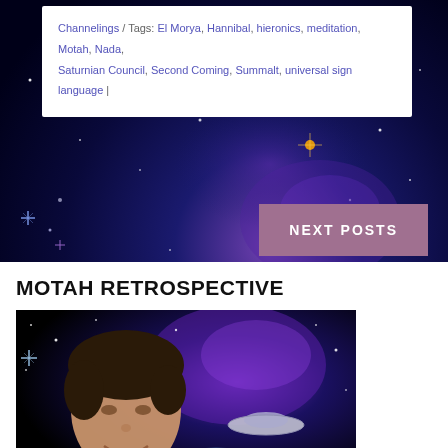Channelings / Tags: El Morya, Hannibal, hieronics, meditation, Motah, Nada, Saturnian Council, Second Coming, Summalt, universal sign language |
[Figure (other): Space background with deep blue and purple nebula, stars]
[Figure (other): NEXT POSTS button in muted mauve/dusty rose color]
MOTAH RETROSPECTIVE
[Figure (photo): Composite photo of a man smiling in front of a space scene with a UFO/flying saucer over the Earth and purple nebula background]